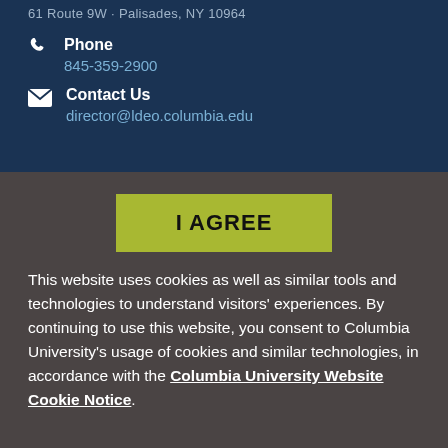61 Route 9W · Palisades, NY 10964
Phone
845-359-2900
Contact Us
director@ldeo.columbia.edu
I AGREE
This website uses cookies as well as similar tools and technologies to understand visitors' experiences. By continuing to use this website, you consent to Columbia University's usage of cookies and similar technologies, in accordance with the Columbia University Website Cookie Notice.